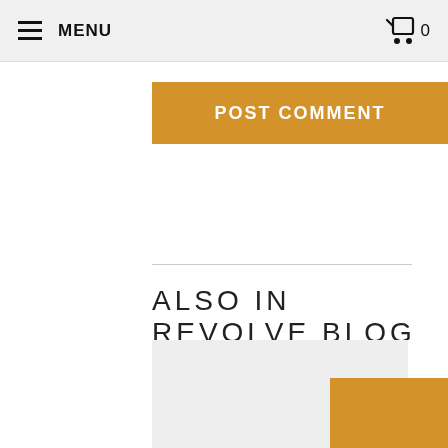≡ MENU  🛒 0
POST COMMENT
ALSO IN REVOLVE BLOG
[Figure (photo): Blog post image placeholder (light gray rectangle) with an orange rectangle overlapping the bottom-right corner]